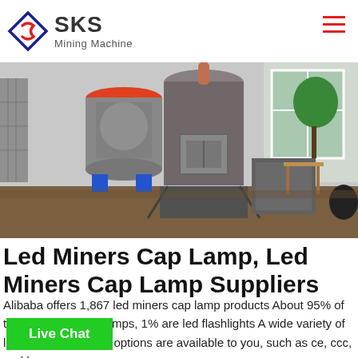SKS Mining Machine
[Figure (photo): Industrial mining machinery including large cylindrical grinding mills on blue supports inside a factory/warehouse building with windows showing green trees outside.]
Led Miners Cap Lamp, Led Miners Cap Lamp Suppliers
Alibaba offers 1,867 led miners cap lamp products About 95% of these are led headlamps, 1% are led flashlights A wide variety of led miners cap lamp options are available to you, such as ce, ccc, and bv.
Live Chat